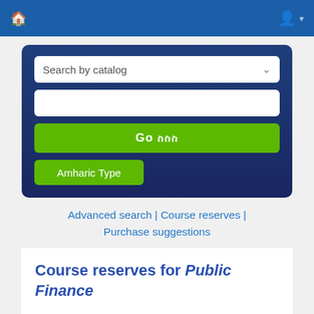[Figure (screenshot): Top navigation bar with home icon on left and user account icon with dropdown caret on right, blue background]
[Figure (screenshot): Search widget with dark blue background containing: 'Search by catalog' dropdown, blank text input, green 'Go' button with Amharic characters, and green 'Amharic Type' button]
Advanced search | Course reserves | Purchase suggestions
Course reserves for Public Finance
Term: Semester II
Department: E...